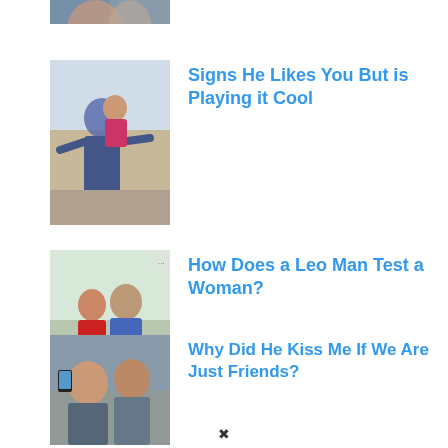[Figure (photo): Partial cropped photo of a couple at top of page]
[Figure (photo): Young couple smiling, man with arms outstretched, woman on his back]
Signs He Likes You But is Playing it Cool
[Figure (photo): Couple walking together, woman in red, man in blue shirt]
How Does a Leo Man Test a Woman?
[Figure (photo): Two people taking a selfie outdoors]
Why Did He Kiss Me If We Are Just Friends?